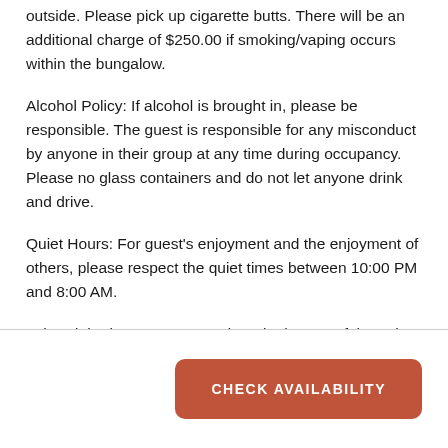outside. Please pick up cigarette butts. There will be an additional charge of $250.00 if smoking/vaping occurs within the bungalow.
Alcohol Policy: If alcohol is brought in, please be responsible. The guest is responsible for any misconduct by anyone in their group at any time during occupancy. Please no glass containers and do not let anyone drink and drive.
Quiet Hours: For guest's enjoyment and the enjoyment of others, please respect the quiet times between 10:00 PM and 8:00 AM.
Lake Club Fitness Center and Pool: The use of the Lake Club Fitness Center & Pool is for registered guests and members only. Outside guests are not allowed. Please
CHECK AVAILABILITY